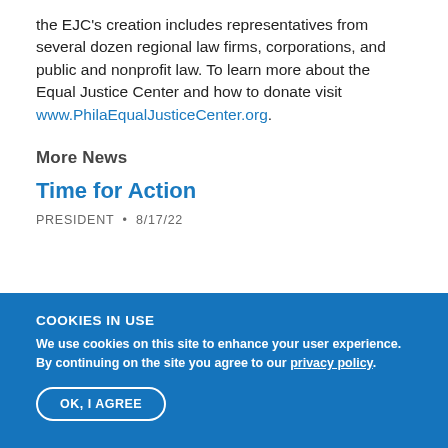the EJC's creation includes representatives from several dozen regional law firms, corporations, and public and nonprofit law. To learn more about the Equal Justice Center and how to donate visit www.PhilaEqualJusticeCenter.org.
More News
Time for Action
PRESIDENT • 8/17/22
COOKIES IN USE
We use cookies on this site to enhance your user experience. By continuing on the site you agree to our privacy policy.
OK, I AGREE